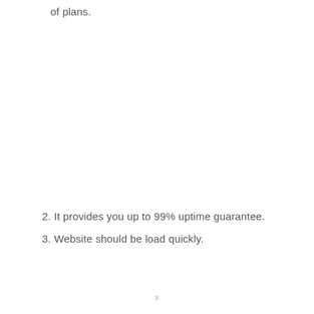of plans.
2. It provides you up to 99% uptime guarantee.
3. Website should be load quickly.
x